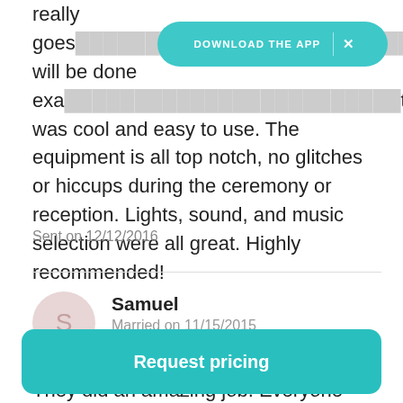really goes [truncated] will be done exa[truncated]tobooth was cool and easy to use. The equipment is all top notch, no glitches or hiccups during the ceremony or reception. Lights, sound, and music selection were all great. Highly recommended!
Sent on 12/12/2016
Samuel
Married on 11/15/2015
5.0
They did an amazing job. Everyone loved the lighting, music (songs and transitions) as well as the photobooth! I could
Request pricing